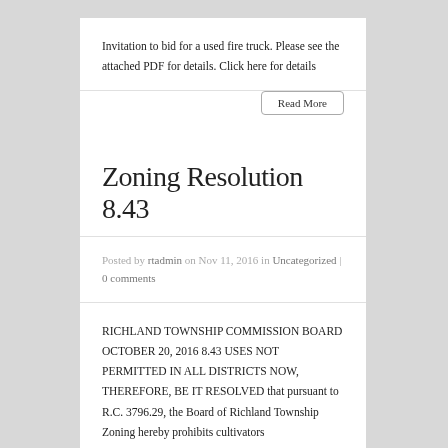Invitation to bid for a used fire truck. Please see the attached PDF for details. Click here for details
Read More
Zoning Resolution 8.43
Posted by rtadmin on Nov 11, 2016 in Uncategorized | 0 comments
RICHLAND TOWNSHIP COMMISSION BOARD OCTOBER 20, 2016 8.43 USES NOT PERMITTED IN ALL DISTRICTS NOW, THEREFORE, BE IT RESOLVED that pursuant to R.C. 3796.29, the Board of Richland Township Zoning hereby prohibits cultivators